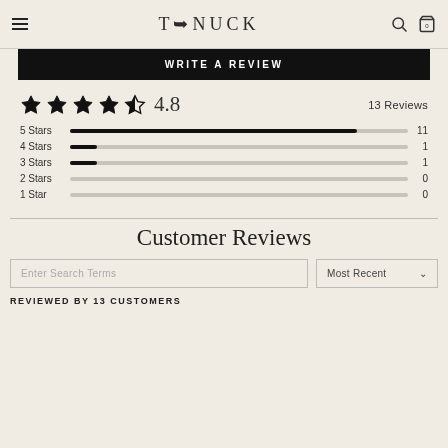T+NUCK
WRITE A REVIEW
[Figure (other): Star rating display showing 4.8 out of 5 stars (4 filled stars and 1 half star) with score 4.8 and 13 Reviews, plus rating breakdown bars: 5 Stars=11, 4 Stars=1, 3 Stars=1, 2 Stars=0, 1 Star=0]
Customer Reviews
Enter Search Terms
Most Recent
REVIEWED BY 13 CUSTOMERS